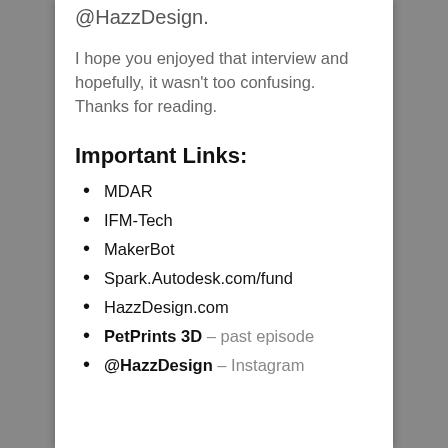@HazzDesign.
I hope you enjoyed that interview and hopefully, it wasn't too confusing. Thanks for reading.
Important Links:
MDAR
IFM-Tech
MakerBot
Spark.Autodesk.com/fund
HazzDesign.com
PetPrints 3D – past episode
@HazzDesign – Instagram